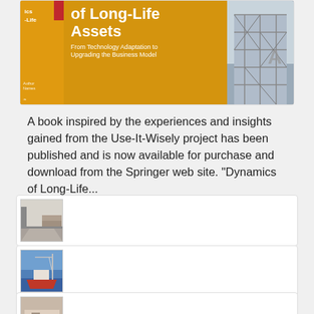[Figure (photo): Book cover for 'Dynamics of Long-Life Assets: From Technology Adaptation to Upgrading the Business Model' published by Springer, shown with yellow/gold background and a photo of scaffolding on the right side]
A book inspired by the experiences and insights gained from the Use-It-Wisely project has been published and is now available for purchase and download from the Springer web site. "Dynamics of Long-Life...
[Figure (photo): Thumbnail image of an interior room or corridor]
[Figure (photo): Thumbnail image of a boat or ship being worked on with a crane]
[Figure (photo): Thumbnail image, partially visible at bottom of page]